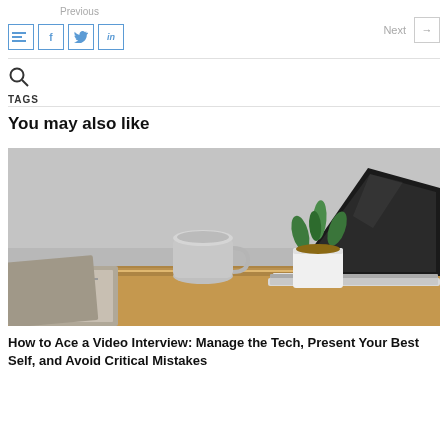Previous | Social share icons (list, facebook, twitter, linkedin) | Next →
TAGS
You may also like
[Figure (photo): A wooden desk with a laptop open, a white ceramic mug, a small potted succulent plant in a white square pot, and what appears to be a magazine or papers to the left. Background is grey.]
How to Ace a Video Interview: Manage the Tech, Present Your Best Self, and Avoid Critical Mistakes